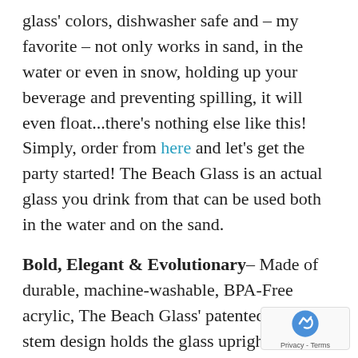glass' colors, dishwasher safe and – my favorite – not only works in sand, in the water or even in snow, holding up your beverage and preventing spilling, it will even float...there's nothing else like this! Simply, order from here and let's get the party started! The Beach Glass is an actual glass you drink from that can be used both in the water and on the sand.
Bold, Elegant & Evolutionary– Made of durable, machine-washable, BPA-Free acrylic, The Beach Glass' patented ball and stem design holds the glass upright in sand, grass and snow. The glass makes for a wonderful conversation piece and can add a touch of elegance and innovation to that special event or day at the beach. The ideal drinkware for outdoor concert